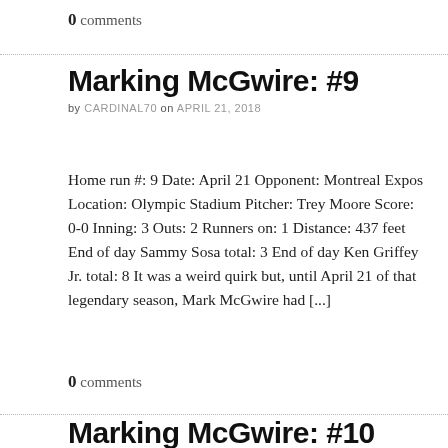0 comments
Marking McGwire: #9
by CARDINAL70 on APRIL 21, 2018
Home run #: 9 Date: April 21 Opponent: Montreal Expos Location: Olympic Stadium Pitcher: Trey Moore Score: 0-0 Inning: 3 Outs: 2 Runners on: 1 Distance: 437 feet End of day Sammy Sosa total: 3 End of day Ken Griffey Jr. total: 8 It was a weird quirk but, until April 21 of that legendary season, Mark McGwire had [...]
0 comments
Marking McGwire: #10